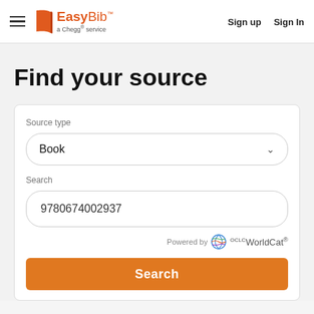EasyBib – a Chegg service | Sign up | Sign In
Find your source
Source type
Book
Search
9780674002937
Powered by WorldCat
Search